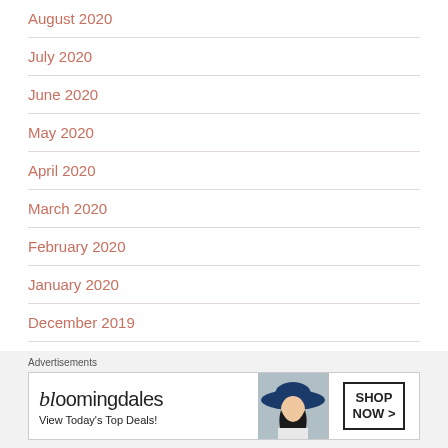August 2020
July 2020
June 2020
May 2020
April 2020
March 2020
February 2020
January 2020
December 2019
Advertisements
[Figure (other): Bloomingdale's advertisement banner: 'bloomingdales – View Today's Top Deals!' with a woman wearing a large blue hat and a 'SHOP NOW >' button]